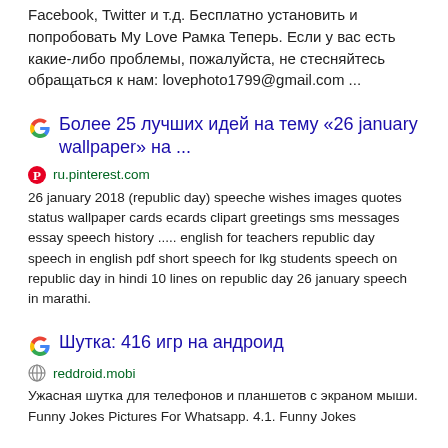Facebook, Twitter и т.д. Бесплатно установить и попробовать My Love Рамка Теперь. Если у вас есть какие-либо проблемы, пожалуйста, не стесняйтесь обращаться к нам: lovephoto1799@gmail.com ...
Более 25 лучших идей на тему «26 january wallpaper» на ...
ru.pinterest.com
26 january 2018 (republic day) speeche wishes images quotes status wallpaper cards ecards clipart greetings sms messages essay speech history ..... english for teachers republic day speech in english pdf short speech for lkg students speech on republic day in hindi 10 lines on republic day 26 january speech in marathi.
Шутка: 416 игр на андроид
reddroid.mobi
Ужасная шутка для телефонов и планшетов с экраном мыши. Funny Jokes Pictures For Whatsapp. 4.1. Funny Jokes